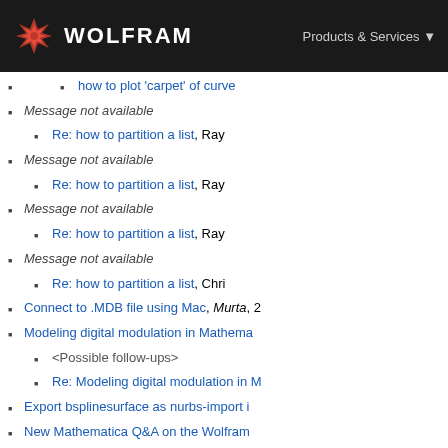WOLFRAM | Products & Services
how to plot 'carpet' of curves
Message not available
Re: how to partition a list, Ray
Message not available
Re: how to partition a list, Ray
Message not available
Re: how to partition a list, Ray
Message not available
Re: how to partition a list, Chri
Connect to .MDB file using Mac, Murta, 2
Modeling digital modulation in Mathema
<Possible follow-ups>
Re: Modeling digital modulation in M
Export bsplinesurface as nurbs-import i
New Mathematica Q&A on the Wolfram
Manipulating vectors with Position, Len
<Possible follow-ups>
Re: Manipulating vectors with Posit